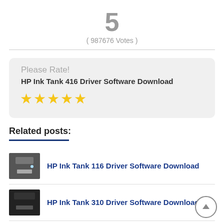5
( 987676 Votes )
Please Rate!
HP Ink Tank 416 Driver Software Download
[Figure (illustration): Five gold star rating icons]
Related posts:
HP Ink Tank 116 Driver Software Download
HP Ink Tank 310 Driver Software Download
HP Ink Tank 319 Driver Software Download